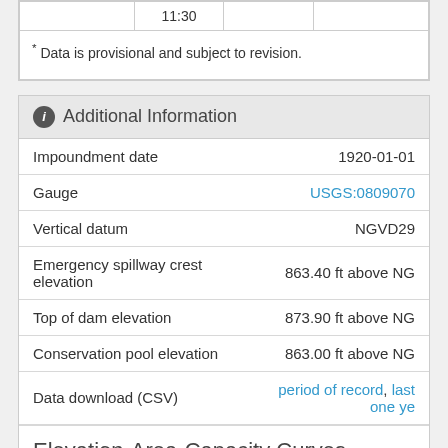|  | 11:30 |  |  |
| * Data is provisional and subject to revision. |
Additional Information
| Field | Value |
| --- | --- |
| Impoundment date | 1920-01-01 |
| Gauge | USGS:0809070 |
| Vertical datum | NGVD29 |
| Emergency spillway crest elevation | 863.40 ft above NG |
| Top of dam elevation | 873.90 ft above NG |
| Conservation pool elevation | 863.00 ft above NG |
| Data download (CSV) | period of record, last one ye |
Elevation-Area-Capacity Curves
1974-10-01 (source: TWDB)
2015-10-01 (source: TWDB) GIS